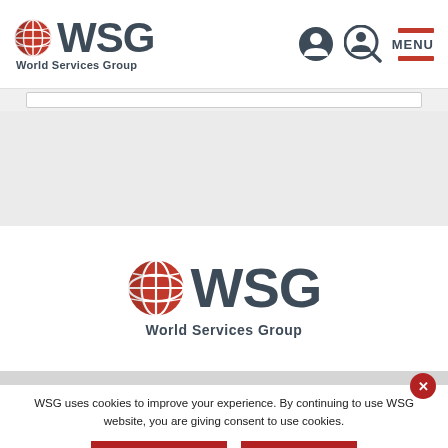[Figure (logo): WSG World Services Group logo in header navigation bar with globe icon, user icon, search icon, and MENU button]
[Figure (logo): WSG World Services Group logo centered in page content area with globe icon]
WSG uses cookies to improve your experience. By continuing to use WSG website, you are giving consent to use cookies.
LEARN MORE
I AGREE